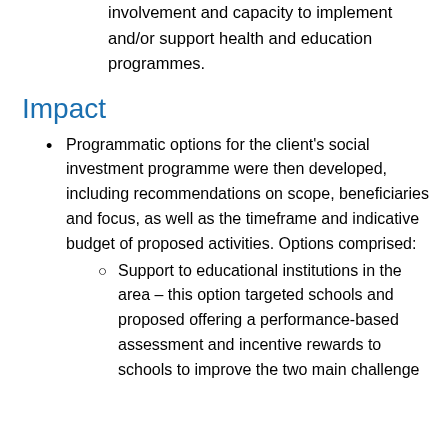involvement and capacity to implement and/or support health and education programmes.
Impact
Programmatic options for the client's social investment programme were then developed, including recommendations on scope, beneficiaries and focus, as well as the timeframe and indicative budget of proposed activities. Options comprised:
Support to educational institutions in the area – this option targeted schools and proposed offering a performance-based assessment and incentive rewards to schools to improve the two main challenge